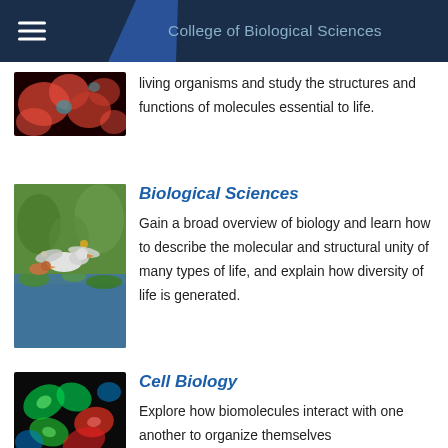College of Biological Sciences
living organisms and study the structures and functions of molecules essential to life.
Biological Sciences
Gain a broad overview of biology and learn how to describe the molecular and structural unity of many types of life, and explain how diversity of life is generated.
Cell Biology
Explore how biomolecules interact with one another to organize themselves